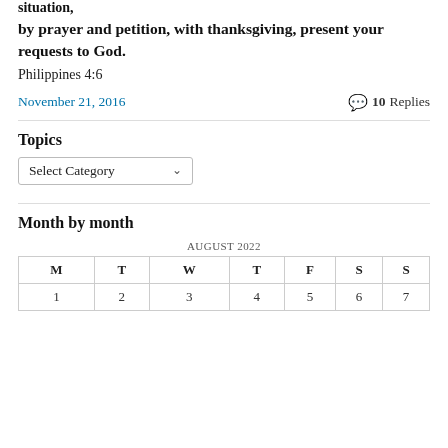situation,
by prayer and petition, with thanksgiving, present your requests to God.
Philippines 4:6
November 21, 2016
💬 10 Replies
Topics
Select Category
Month by month
| M | T | W | T | F | S | S |
| --- | --- | --- | --- | --- | --- | --- |
| 1 | 2 | 3 | 4 | 5 | 6 | 7 |